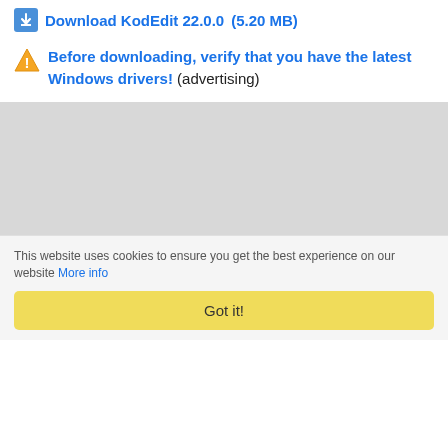Download KodEdit 22.0.0 (5.20 MB)
⚠ Before downloading, verify that you have the latest Windows drivers! (advertising)
[Figure (other): Gray advertisement placeholder area]
This website uses cookies to ensure you get the best experience on our website More info
Got it!